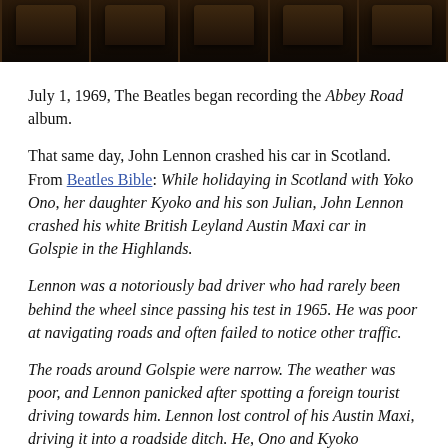[Figure (photo): Dark photograph showing a row of chairs or seats, appearing to be in a dark venue or studio, with brown/dark wooden chair backs visible.]
July 1, 1969, The Beatles began recording the Abbey Road album.
That same day, John Lennon crashed his car in Scotland. From Beatles Bible: While holidaying in Scotland with Yoko Ono, her daughter Kyoko and his son Julian, John Lennon crashed his white British Leyland Austin Maxi car in Golspie in the Highlands.
Lennon was a notoriously bad driver who had rarely been behind the wheel since passing his test in 1965. He was poor at navigating roads and often failed to notice other traffic.
The roads around Golspie were narrow. The weather was poor, and Lennon panicked after spotting a foreign tourist driving towards him. Lennon lost control of his Austin Maxi, driving it into a roadside ditch. He, Ono and Kyoko sustained cuts to the face and